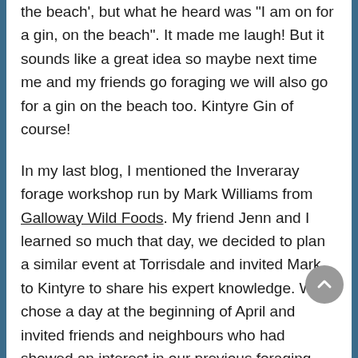the beach', but what he heard was 'I am on for a gin, on the beach". It made me laugh!  But it sounds like a great idea so maybe next time me and my friends go foraging we will also go for a gin on the beach too. Kintyre Gin of course!
In my last blog, I mentioned the Inveraray forage workshop run by  Mark Williams from Galloway Wild Foods. My friend Jenn and I learned so much that day, we decided to plan a similar event at Torrisdale and invited Mark to Kintyre to share his expert knowledge.  We chose a day at the beginning of April and invited friends and neighbours who had showed an interest in our previous foraging exploits.